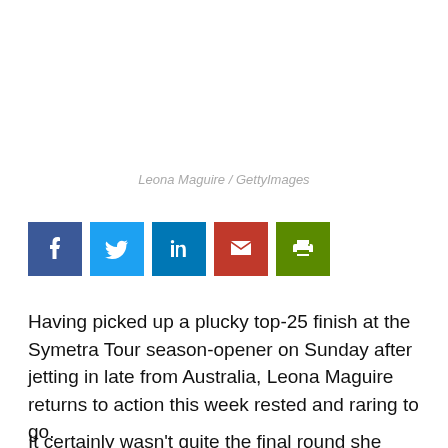Leona Maguire / GettyImages
[Figure (infographic): Social media share buttons: Facebook (blue), Twitter (light blue), LinkedIn (dark blue), Email (red), Print (green)]
Having picked up a plucky top-25 finish at the Symetra Tour season-opener on Sunday after jetting in late from Australia, Leona Maguire returns to action this week rested and raring to go.
It certainly wasn't quite the final round she would have